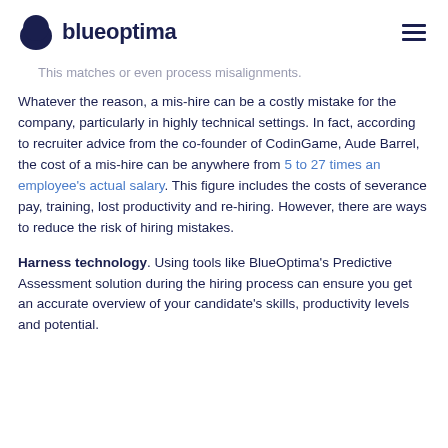blueoptima
This matches or even process misalignments.
Whatever the reason, a mis-hire can be a costly mistake for the company, particularly in highly technical settings. In fact, according to recruiter advice from the co-founder of CodinGame, Aude Barrel, the cost of a mis-hire can be anywhere from 5 to 27 times an employee's actual salary. This figure includes the costs of severance pay, training, lost productivity and re-hiring. However, there are ways to reduce the risk of hiring mistakes.
Harness technology. Using tools like BlueOptima's Predictive Assessment solution during the hiring process can ensure you get an accurate overview of your candidate's skills, productivity levels and potential.